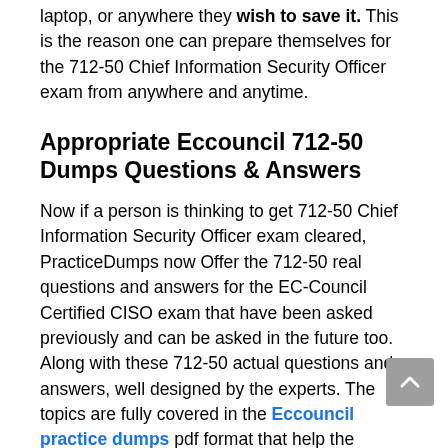laptop, or anywhere they wish to save it. This is the reason one can prepare themselves for the 712-50 Chief Information Security Officer exam from anywhere and anytime.
Appropriate Eccouncil 712-50 Dumps Questions & Answers
Now if a person is thinking to get 712-50 Chief Information Security Officer exam cleared, PracticeDumps now Offer the 712-50 real questions and answers for the EC-Council Certified CISO exam that have been asked previously and can be asked in the future too. Along with these 712-50 actual questions and answers, well designed by the experts. The topics are fully covered in the Eccouncil practice dumps pdf format that help the candidate to clear 712-50 Chief Information Security Officer exam and get success